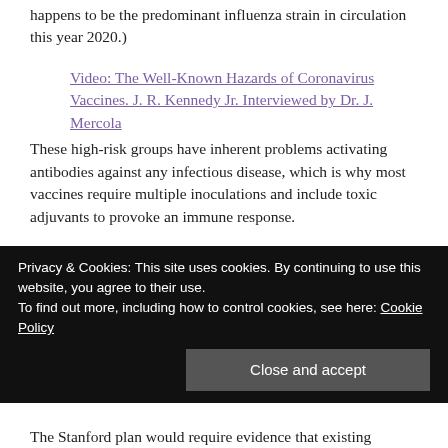happens to be the predominant influenza strain in circulation this year 2020.)
Video: The Well-Known Hazards of Coronavirus Vaccines. J. R. Kennedy Jr. Interviewed by Dr. J. Mercola
These high-risk groups have inherent problems activating antibodies against any infectious disease, which is why most vaccines require multiple inoculations and include toxic adjuvants to provoke an immune response.
Also on the priority list for forced vaccination are prisoners, people with prior respiratory problems, nursing home patients and healthcare workers.
Privacy & Cookies: This site uses cookies. By continuing to use this website, you agree to their use.
To find out more, including how to control cookies, see here: Cookie Policy
Close and accept
The Stanford plan would require evidence that existing